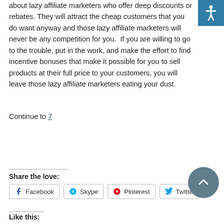about lazy affiliate marketers who offer deep discounts or rebates. They will attract the cheap customers that you don't want anyway and those lazy affiliate marketers will never be any competition for you.  If you are willing to go to the trouble, put in the work, and make the effort to find incentive bonuses that make it possible for you to sell products at their full price to your customers, you will leave those lazy affiliate marketers eating your dust.
Continue to 7
Share the love:
Facebook  Skype  Pinterest  Twitter
Like this: